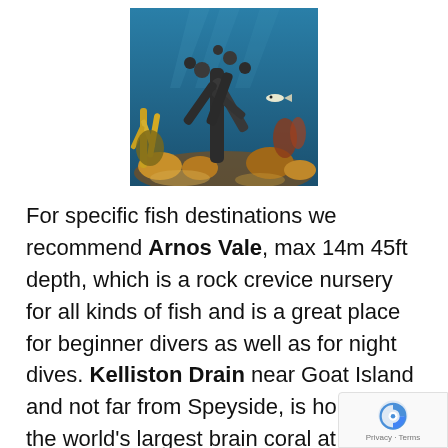[Figure (photo): Underwater photo showing coral reef with a dark branching coral formation resembling a shape, surrounded by colorful corals and marine life in blue-green water]
For specific fish destinations we recommend Arnos Vale, max 14m 45ft depth, which is a rock crevice nursery for all kinds of fish and is a great place for beginner divers as well as for night dives. Kelliston Drain near Goat Island and not far from Speyside, is home of the world's largest brain coral at over 3m (10ft) high and